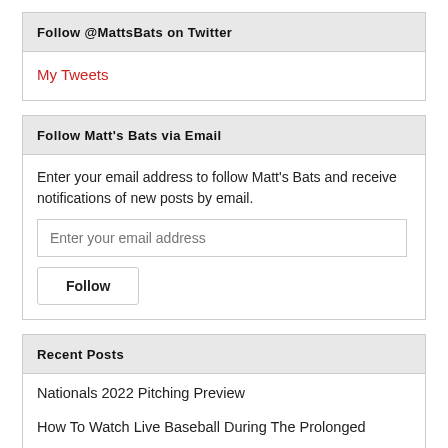Follow @MattsBats on Twitter
My Tweets
Follow Matt's Bats via Email
Enter your email address to follow Matt's Bats and receive notifications of new posts by email.
Enter your email address
Follow
Recent Posts
Nationals 2022 Pitching Preview
How To Watch Live Baseball During The Prolonged